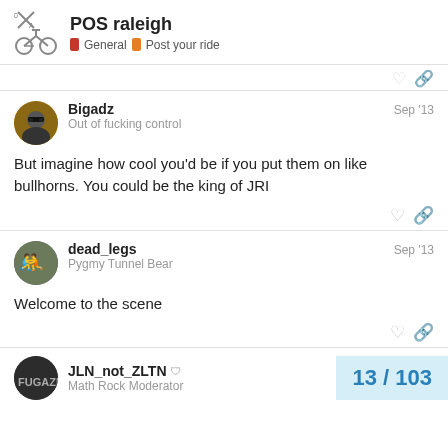POS raleigh | General | Post your ride
Bigadz
Out of fucking control
Sep '13
But imagine how cool you'd be if you put them on like bullhorns. You could be the king of JRI
dead_legs
Pygmy Tunnel Bear
Sep '13
Welcome to the scene
JLN_not_ZLTN
Math Rock Moderator
13 / 103